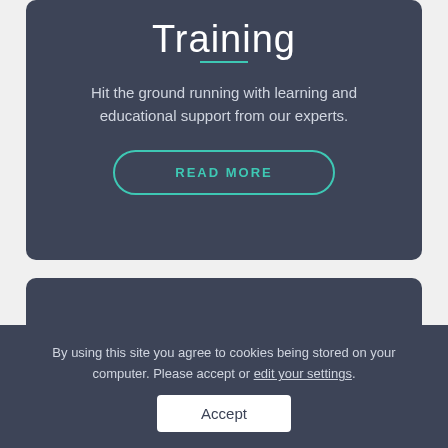Training
Hit the ground running with learning and educational support from our experts.
READ MORE
[Figure (other): Partial bottom card with teal circular icon visible at bottom edge]
By using this site you agree to cookies being stored on your computer. Please accept or edit your settings.
Accept